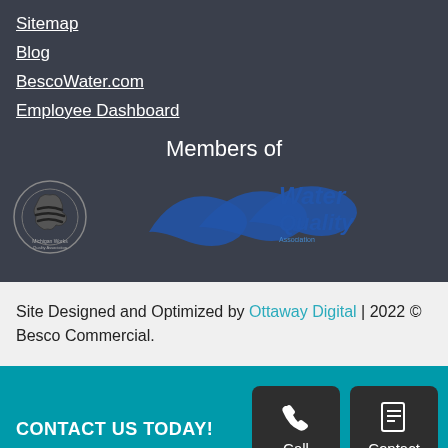Sitemap
Blog
BescoWater.com
Employee Dashboard
Members of
[Figure (logo): Michigan Works Quality Association logo (small circular seal with black and white design) and Water Quality Association logo (blue swoosh design with 'Water Quality' text in blue)]
Site Designed and Optimized by Ottaway Digital | 2022 © Besco Commercial.
CONTACT US TODAY!
[Figure (other): Call button with phone icon]
[Figure (other): Contact button with document icon]